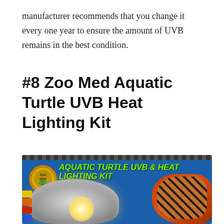manufacturer recommends that you change it every one year to ensure the amount of UVB remains in the best condition.
#8 Zoo Med Aquatic Turtle UVB Heat Lighting Kit
[Figure (photo): Product box of Zoo Med Aquatic Turtle UVB & Heat Lighting Kit showing two dome lamps and a painted turtle on a blue background]